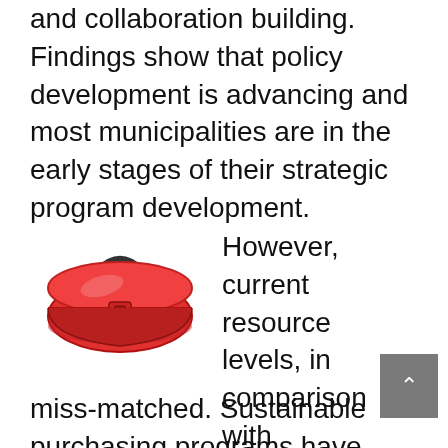and collaboration building. Findings show that policy development is advancing and most municipalities are in the early stages of their strategic program development.
[Figure (illustration): Illustration of a red toolbox / carrying case]
However, current resource levels, in comparison with expectations of the programs, are miss-matched. Sustainable purchasing programs have insufficient resources to capitalize on many opportunities. As a result, implementation of the majority